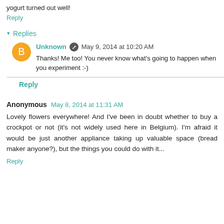yogurt turned out well!
Reply
▾ Replies
Unknown  May 9, 2014 at 10:20 AM
Thanks! Me too! You never know what's going to happen when you experiment :-)
Reply
Anonymous  May 8, 2014 at 11:31 AM
Lovely flowers everywhere! And I've been in doubt whether to buy a crockpot or not (it's not widely used here in Belgium). I'm afraid it would be just another appliance taking up valuable space (bread maker anyone?), but the things you could do with it...
Reply